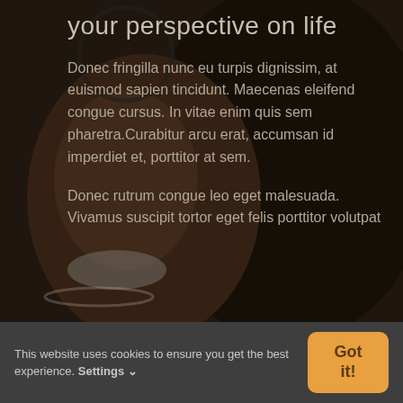[Figure (photo): Dark background photo of a woman smiling, wearing glasses, with hair visible. Dark overlay applied over the image.]
your perspective on life
Donec fringilla nunc eu turpis dignissim, at euismod sapien tincidunt. Maecenas eleifend congue cursus. In vitae enim quis sem pharetra.Curabitur arcu erat, accumsan id imperdiet et, porttitor at sem.
Donec rutrum congue leo eget malesuada. Vivamus suscipit tortor eget felis porttitor volutpat
This website uses cookies to ensure you get the best experience. Settings ❯
Got it!